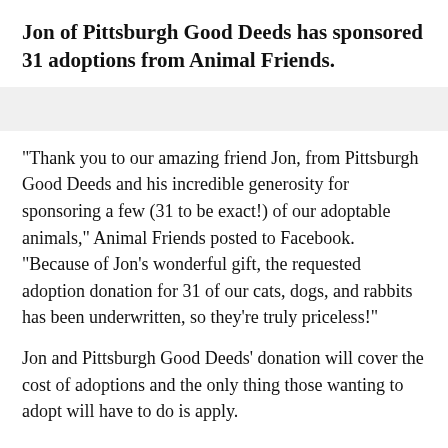Jon of Pittsburgh Good Deeds has sponsored 31 adoptions from Animal Friends.
"Thank you to our amazing friend Jon, from Pittsburgh Good Deeds and his incredible generosity for sponsoring a few (31 to be exact!) of our adoptable animals," Animal Friends posted to Facebook. "Because of Jon's wonderful gift, the requested adoption donation for 31 of our cats, dogs, and rabbits has been underwritten, so they're truly priceless!"
Jon and Pittsburgh Good Deeds' donation will cover the cost of adoptions and the only thing those wanting to adopt will have to do is apply.